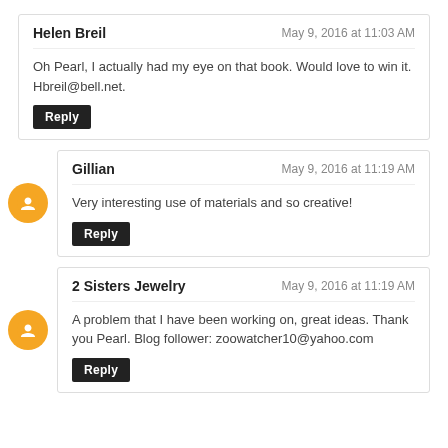Helen Breil — May 9, 2016 at 11:03 AM
Oh Pearl, I actually had my eye on that book. Would love to win it. Hbreil@bell.net.
Reply
Gillian — May 9, 2016 at 11:19 AM
Very interesting use of materials and so creative!
Reply
2 Sisters Jewelry — May 9, 2016 at 11:19 AM
A problem that I have been working on, great ideas. Thank you Pearl. Blog follower: zoowatcher10@yahoo.com
Reply